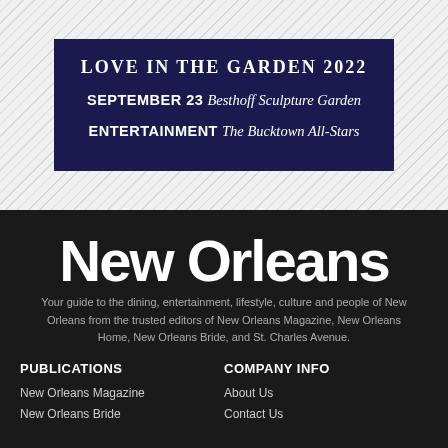[Figure (other): Dark navy banner with event details on a diagonal striped background. Title: LOVE IN THE GARDEN 2022. SEPTEMBER 23 Besthoff Sculpture Garden. ENTERTAINMENT The Bucktown All-Stars.]
New Orleans
Your guide to the dining, entertainment, lifestyle, culture and people of New Orleans from the trusted editors of New Orleans Magazine, New Orleans Home, New Orleans Bride, and St. Charles Avenue.
PUBLICATIONS
COMPANY INFO
New Orleans Magazine
About Us
New Orleans Bride
Contact Us